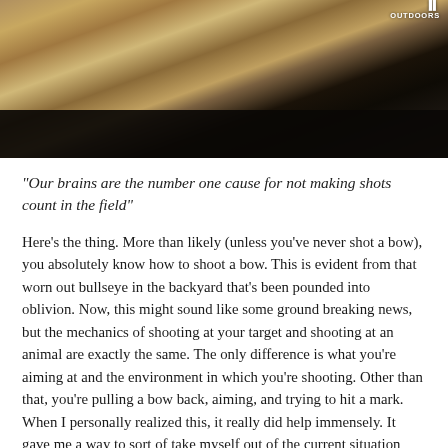[Figure (photo): A person in camouflage clothing leaning over what appears to be a dark-colored vehicle or equipment, outdoors in a field setting. A logo reading 'OUTDOORS' is visible in the top right corner.]
"Our brains are the number one cause for not making shots count in the field"
Here's the thing. More than likely (unless you've never shot a bow), you absolutely know how to shoot a bow. This is evident from that worn out bullseye in the backyard that's been pounded into oblivion. Now, this might sound like some ground breaking news, but the mechanics of shooting at your target and shooting at an animal are exactly the same. The only difference is what you're aiming at and the environment in which you're shooting. Other than that, you're pulling a bow back, aiming, and trying to hit a mark. When I personally realized this, it really did help immensely. It gave me a way to sort of take myself out of the current situation